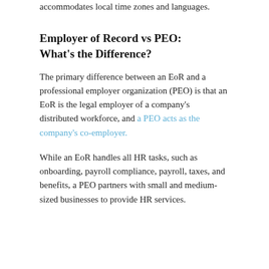accommodates local time zones and languages.
Employer of Record vs PEO: What's the Difference?
The primary difference between an EoR and a professional employer organization (PEO) is that an EoR is the legal employer of a company's distributed workforce, and a PEO acts as the company's co-employer.
While an EoR handles all HR tasks, such as onboarding, payroll compliance, payroll, taxes, and benefits, a PEO partners with small and medium-sized businesses to provide HR services.